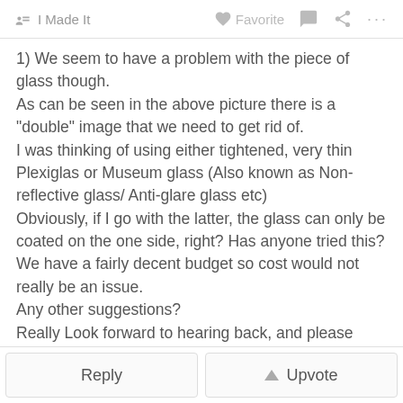I Made It   Favorite   ...
1) We seem to have a problem with the piece of glass though.
As can be seen in the above picture there is a "double" image that we need to get rid of.
I was thinking of using either tightened, very thin Plexiglas or Museum glass (Also known as Non-reflective glass/ Anti-glare glass etc)
Obviously, if I go with the latter, the glass can only be coated on the one side, right? Has anyone tried this?
We have a fairly decent budget so cost would not really be an issue.
Any other suggestions?
Really Look forward to hearing back, and please forgive me if I am doing this wrong. I only joined today.